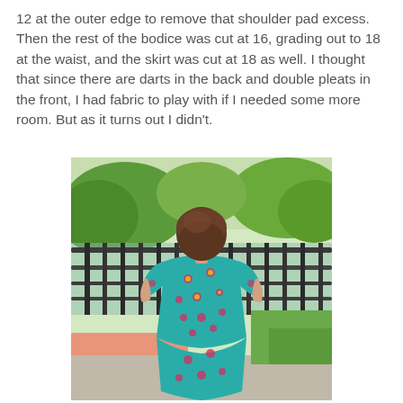12 at the outer edge to remove that shoulder pad excess. Then the rest of the bodice was cut at 16, grading out to 18 at the waist, and the skirt was cut at 18 as well. I thought that since there are darts in the back and double pleats in the front, I had fabric to play with if I needed some more room. But as it turns out I didn't.
[Figure (photo): Back view of a woman wearing a teal/turquoise floral dress with short sleeves, standing on a bridge or walkway with a metal railing, green trees visible in background.]